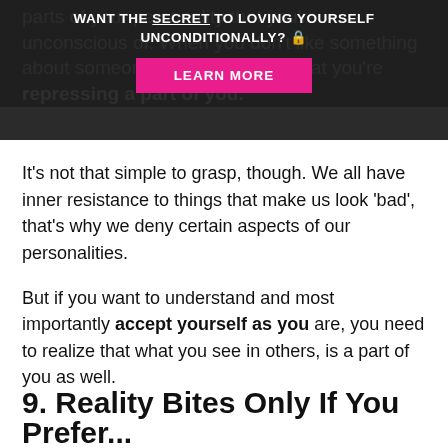parts of your personality that you're unconscious of. When you don't like something about someone, it's often a sign that you're repressing a part of you.
[Figure (other): Dark overlay popup banner with text 'WANT THE SECRET TO LOVING YOURSELF UNCONDITIONALLY? 🔒' and a pink 'LEARN MORE' button]
It's not that simple to grasp, though. We all have inner resistance to things that make us look 'bad', that's why we deny certain aspects of our personalities.
But if you want to understand and most importantly accept yourself as you are, you need to realize that what you see in others, is a part of you as well.
9. Reality Bites Only If You Prefer...